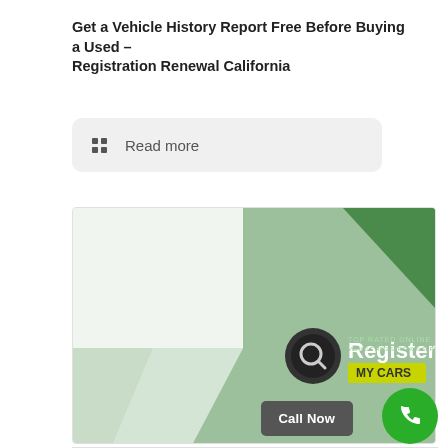Get a Vehicle History Report Free Before Buying a Used – Registration Renewal California
Read more
[Figure (illustration): Advertisement banner for 'Register My Cars' service with green geometric background and logo]
April 24, 2016
IIT (Individual Income Tax) Planning for Expatriates in – Registration Renewal California
Read more
Call Now